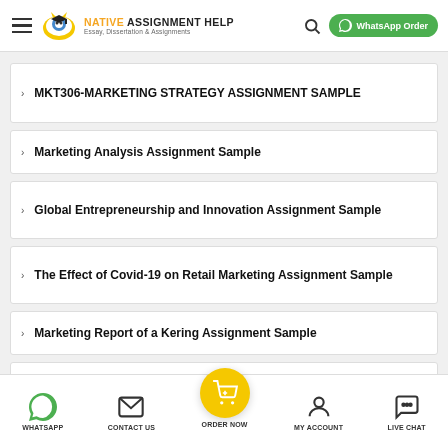NATIVE ASSIGNMENT HELP - Essay, Dissertation & Assignments | WhatsApp Order
MKT306-MARKETING STRATEGY ASSIGNMENT SAMPLE
Marketing Analysis Assignment Sample
Global Entrepreneurship and Innovation Assignment Sample
The Effect of Covid-19 on Retail Marketing Assignment Sample
Marketing Report of a Kering Assignment Sample
WHATSAPP | CONTACT US | ORDER NOW | MY ACCOUNT | LIVE CHAT